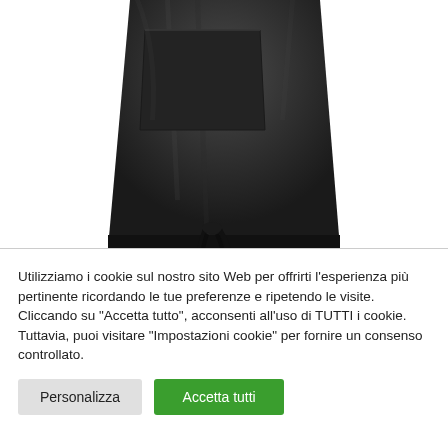[Figure (photo): Bottom portion of a dark/black leather or synthetic apron with tie strings hanging down, photographed on white background.]
Utilizziamo i cookie sul nostro sito Web per offrirti l'esperienza più pertinente ricordando le tue preferenze e ripetendo le visite. Cliccando su "Accetta tutto", acconsenti all'uso di TUTTI i cookie. Tuttavia, puoi visitare "Impostazioni cookie" per fornire un consenso controllato.
Personalizza
Accetta tutti